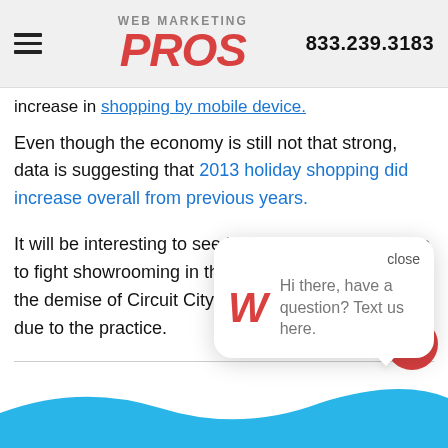WEB MARKETING PROS | 833.239.3183
increase in shopping by mobile device.
Even though the economy is still not that strong, data is suggesting that 2013 holiday shopping did increase overall from previous years.
It will be interesting to see how retail stores continue to fight showrooming in the future. It is thought that the demise of Circuit City and Border's largely was due to the practice.
Share This